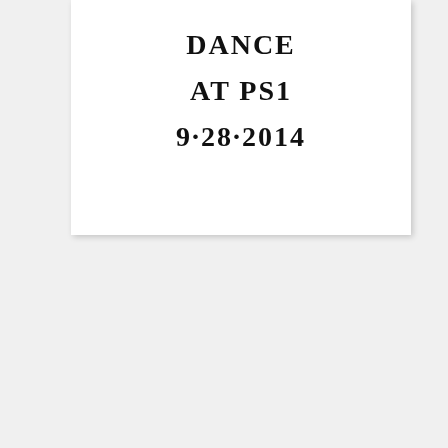[Figure (other): Handwritten note on white card with drop shadow reading: DANCE / AT PS1 / 9.28.2014]